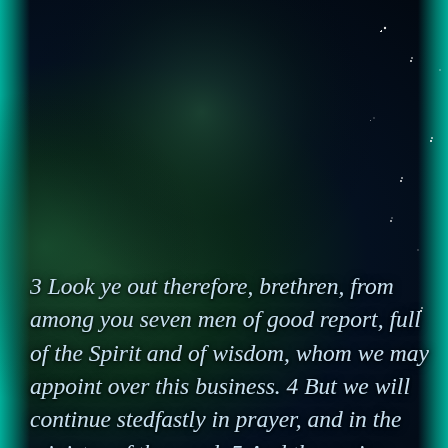[Figure (photo): Space nebula background with dark teal/green tones and starfield, teal-green glowing edges on left and right sides, dark cosmic imagery with faint figure silhouettes]
3  Look ye out therefore, brethren, from among you seven men of good report, full of the Spirit and of wisdom, whom we may appoint over this business. 4  But we will continue stedfastly in prayer, and in the ministry of the word. 5  And the saying pleased the whole multitude: and they chose Stephen, a man full of faith and of the Holy Spirit, and Philip, and Prochorus, and Nicanor, and Timon, and Parmenas, and Nicolaus a proselyte of Antioch; 6  whom they set before the apostles: and when they